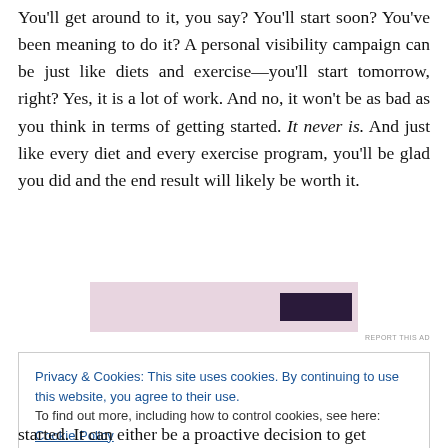You'll get around to it, you say? You'll start soon? You've been meaning to do it? A personal visibility campaign can be just like diets and exercise—you'll start tomorrow, right? Yes, it is a lot of work. And no, it won't be as bad as you think in terms of getting started. It never is. And just like every diet and every exercise program, you'll be glad you did and the end result will likely be worth it.
[Figure (other): Partially visible advertisement banner with pink/mauve background and a dark purple button element]
Privacy & Cookies: This site uses cookies. By continuing to use this website, you agree to their use. To find out more, including how to control cookies, see here: Cookie Policy
started. It can either be a proactive decision to get